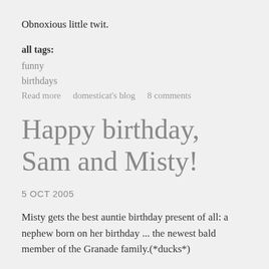Obnoxious little twit.
all tags:
funny
birthdays
Read more    domesticat's blog    8 comments
Happy birthday, Sam and Misty!
5 OCT 2005
Misty gets the best auntie birthday present of all: a nephew born on her birthday ... the newest bald member of the Granade family.(*ducks*)
Congratulations to Andrew and Joy, whose first